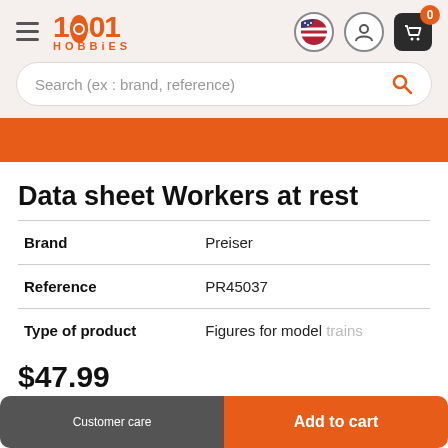1001 HOBBIES
Search (ex : brand, reference)
Data sheet Workers at rest
|  |  |
| --- | --- |
| Brand | Preiser |
| Reference | PR45037 |
| Type of product | Figures for model trains |
$47.99
Customer care  Add to cart